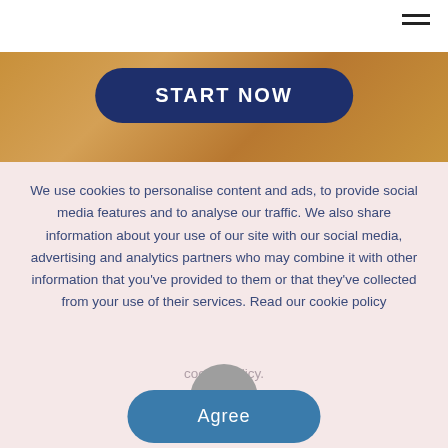[Figure (screenshot): Sandy/dirt textured background image behind START NOW button]
START NOW
We use cookies to personalise content and ads, to provide social media features and to analyse our traffic. We also share information about your use of our site with our social media, advertising and analytics partners who may combine it with other information that you've provided to them or that they've collected from your use of their services. Read our cookie policy
cookie policy.
[Figure (illustration): Scroll-up arrow icon in grey circle]
Agree